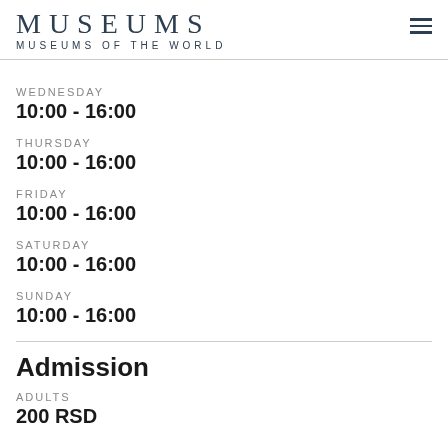MUSEUMS — MUSEUMS OF THE WORLD
WEDNESDAY
10:00 - 16:00
THURSDAY
10:00 - 16:00
FRIDAY
10:00 - 16:00
SATURDAY
10:00 - 16:00
SUNDAY
10:00 - 16:00
Admission
ADULTS
200 RSD